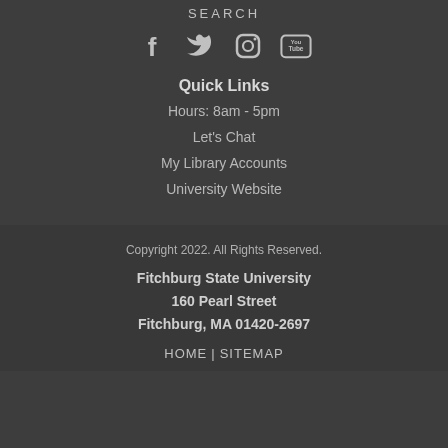SEARCH
[Figure (illustration): Four social media icons: Facebook, Twitter, Instagram, YouTube]
Quick Links
Hours: 8am - 5pm
Let's Chat
My Library Accounts
University Website
Copyright 2022. All Rights Reserved.
Fitchburg State University
160 Pearl Street
Fitchburg, MA 01420-2697
HOME | SITEMAP